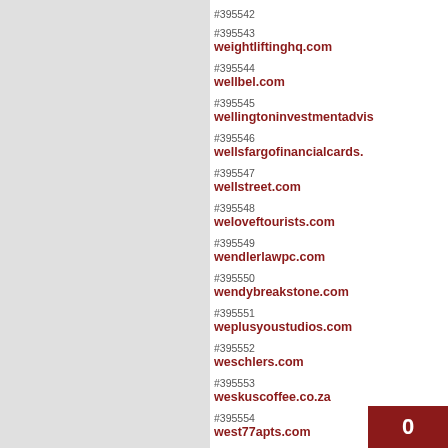#395542
#395543 weightliftinghq.com
#395544 wellbel.com
#395545 wellingtoninvestmentadvis
#395546 wellsfargofinancialcards.
#395547 wellstreet.com
#395548 weloveftourists.com
#395549 wendlerlawpc.com
#395550 wendybreakstone.com
#395551 weplusyoustudios.com
#395552 weschlers.com
#395553 weskuscoffee.co.za
#395554 west77apts.com